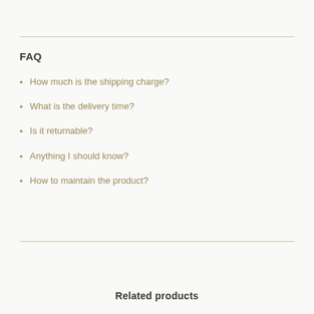FAQ
How much is the shipping charge?
What is the delivery time?
Is it returnable?
Anything I should know?
How to maintain the product?
Related products